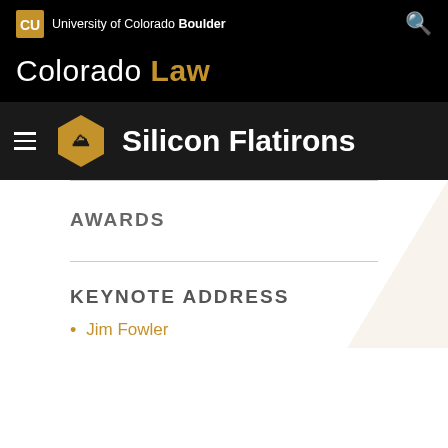University of Colorado Boulder
Colorado Law
[Figure (logo): Silicon Flatirons logo with hexagon icon and text 'Silicon Flatirons']
AWARDS
KEYNOTE ADDRESS
Jim Fowler